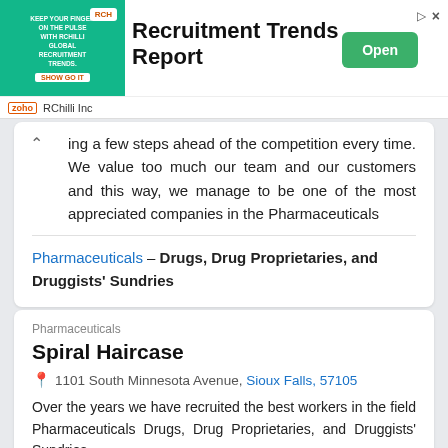[Figure (other): Advertisement banner for RChilli Inc - Recruitment Trends Report with green image, Open button, and RChilli Inc footer]
ing a few steps ahead of the competition every time. We value too much our team and our customers and this way, we manage to be one of the most appreciated companies in the Pharmaceuticals
Pharmaceuticals – Drugs, Drug Proprietaries, and Druggists' Sundries
Pharmaceuticals
Spiral Haircase
1101 South Minnesota Avenue, Sioux Falls, 57105
Over the years we have recruited the best workers in the field Pharmaceuticals Drugs, Drug Proprietaries, and Druggists' Sundries Where can you find us Spiral Haircase 1101 South